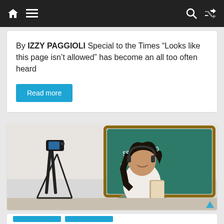Navigation bar with home, menu, search, and shuffle icons
By IZZY PAGGIOLI Special to the Times “Looks like this page isn’t allowed” has become an all too often heard
Read more
[Figure (photo): A smiling young woman wearing a headset and holding a tablet, standing in front of a chalkboard with math equations, with a camera on a tripod visible to the left.]